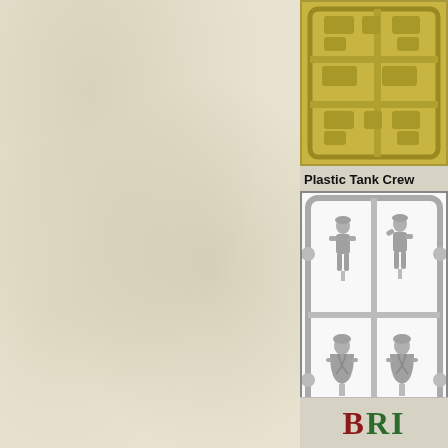[Figure (photo): Cream/beige parchment textured background filling the left two-thirds of the page]
[Figure (photo): Plastic sprue with olive/gold colored parts visible at top right, partially cropped]
Plastic Tank Crew
[Figure (photo): Plastic sprue with gray colored tank crew miniature figures, showing 4 figures in two rows on a gray plastic frame/sprue]
[Figure (logo): Partial logo text 'BRI' in red and green serif font at bottom right]